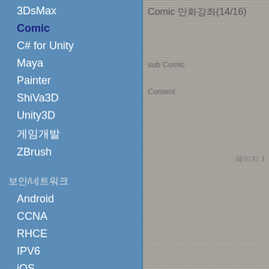3DsMax
Comic
C# for Unity
Maya
Painter
ShiVa3D
Unity3D
게임개발
ZBrush
보안/네트워크
Android
CCNA
RHCE
IPV6
iOS
Java
Python
오피스/컴활
Access
CorelDRAW
Comic 만화강좌(14/16)
sub Comic
Content
페이지 1